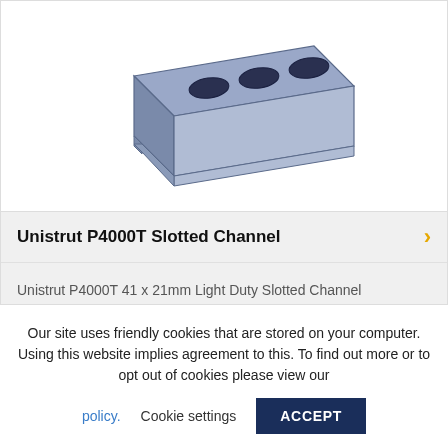[Figure (illustration): 3D rendering of Unistrut P4000T Slotted Channel — a blue-grey metal channel with three oval slots on the top face and inward-curled lips on the sides.]
Unistrut P4000T Slotted Channel
Unistrut P4000T 41 x 21mm Light Duty Slotted Channel
Our site uses friendly cookies that are stored on your computer. Using this website implies agreement to this. To find out more or to opt out of cookies please view our policy. Cookie settings ACCEPT